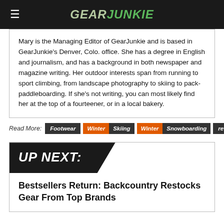GearJunkie
Mary is the Managing Editor of GearJunkie and is based in GearJunkie's Denver, Colo. office. She has a degree in English and journalism, and has a background in both newspaper and magazine writing. Her outdoor interests span from running to sport climbing, from landscape photography to skiing to pack-paddleboarding. If she's not writing, you can most likely find her at the top of a fourteener, or in a local bakery.
Read More: Footwear | Winter Skiing | Winter Snowboarding | reviews | best of
UP NEXT:
Bestsellers Return: Backcountry Restocks Gear From Top Brands